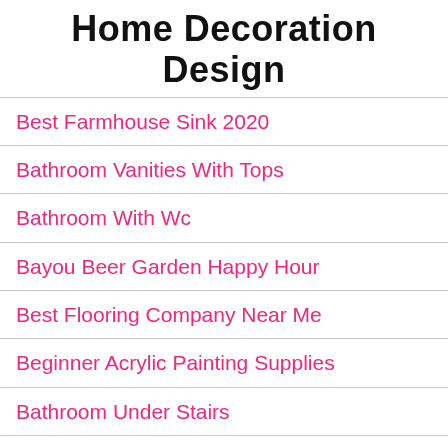Home Decoration Design
Best Farmhouse Sink 2020
Bathroom Vanities With Tops
Bathroom With Wc
Bayou Beer Garden Happy Hour
Best Flooring Company Near Me
Beginner Acrylic Painting Supplies
Bathroom Under Stairs
Begonia Flower Garden Bandung
Beautiful Flower Garden Quotes
Beer Garden Scbd Hours
Bathroom With Bronze Fixtures